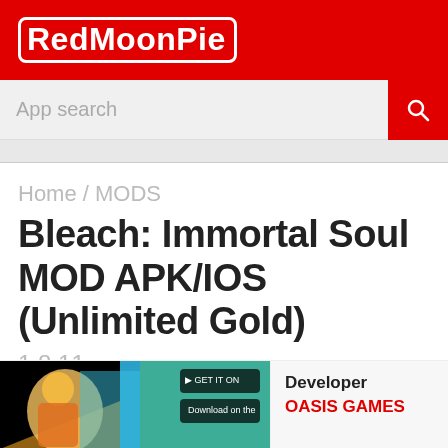RedMoonPie
App search
Home / MODS
Bleach: Immortal Soul MOD APK/IOS (Unlimited Gold)
1.8.11
MODS
MOD Features: Unlimited Gold
[Figure (screenshot): Game screenshot thumbnail for Bleach: Immortal Soul showing anime character]
Developer
OASIS GAMES